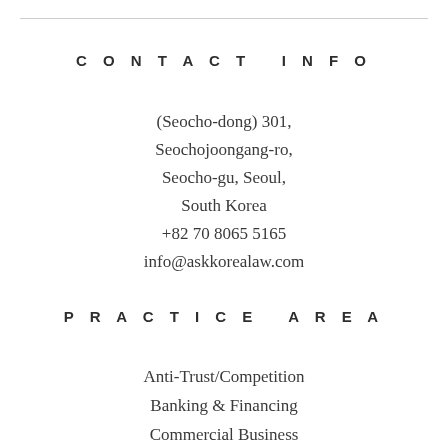CONTACT INFO
(Seocho-dong) 301,
Seochojoongang-ro,
Seocho-gu, Seoul,
South Korea
+82 70 8065 5165
info@askkorealaw.com
PRACTICE AREA
Anti-Trust/Competition
Banking & Financing
Commercial Business